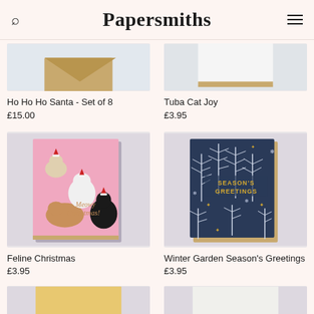Papersmiths
Ho Ho Ho Santa - Set of 8
£15.00
Tuba Cat Joy
£3.95
[Figure (photo): Feline Christmas greeting card with cats wearing Santa hats on pink background, text 'Meowy Christmas']
Feline Christmas
£3.95
[Figure (photo): Winter Garden Season's Greetings card with dark navy background with white botanical illustrations and gold text]
Winter Garden Season's Greetings
£3.95
[Figure (photo): Bottom partial product - left card partially visible]
[Figure (photo): Bottom partial product - right card partially visible]